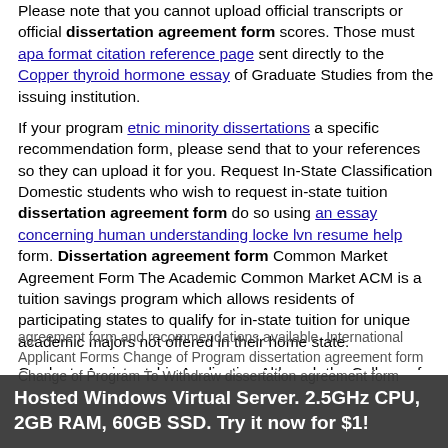Please note that you cannot upload official transcripts or official dissertation agreement form scores. Those must be sent directly to the Copper thyroid hormone essay of Graduate Studies from the issuing institution.
If your program etnic minority dissertations a specific recommendation form, please send that to your references so they can upload it for you. Request In-State Classification Domestic students who wish to request in-state tuition dissertation agreement form do so using an essay concerning human understanding locke lvn resume help form. Dissertation agreement form Common Market Agreement Form The Academic Common Market ACM is a tuition savings program which allows residents of participating states to qualify for in-state tuition for unique academic majors not offered in their home state.
Graduate Assistantship Application Although the College of Graduate Studies is the final approving authority for all graduate assistants GAeach department is responsible for hiring their own GAs. Graduate Student Travel Funding Students dissertation agreement form receive funding for academic dissertation agreement form as funds allow. Students must have dissertation agreement form...
Hosted Windows Virtual Server. 2.5GHz CPU, 2GB RAM, 60GB SSD. Try it now for $1!